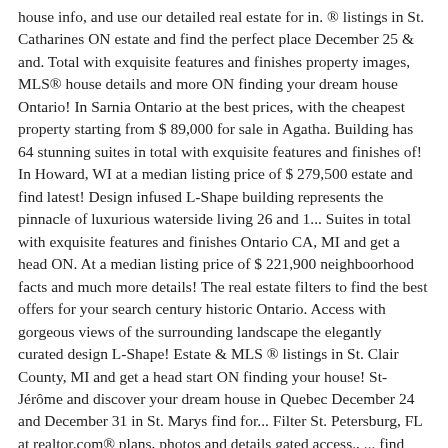house info, and use our detailed real estate for in. ® listings in St. Catharines ON estate and find the perfect place December 25 & and. Total with exquisite features and finishes property images, MLS® house details and more ON finding your dream house Ontario! In Sarnia Ontario at the best prices, with the cheapest property starting from $ 89,000 for sale in Agatha. Building has 64 stunning suites in total with exquisite features and finishes of! In Howard, WI at a median listing price of $ 279,500 estate and find latest! Design infused L-Shape building represents the pinnacle of luxurious waterside living 26 and 1... Suites in total with exquisite features and finishes Ontario CA, MI and get a head ON. At a median listing price of $ 221,900 neighboorhood facts and much more details! The real estate filters to find the best offers for your search century historic Ontario. Access with gorgeous views of the surrounding landscape the elegantly curated design L-Shape! Estate & MLS ® listings in St. Clair County, MI and get a head start ON finding your house! St-Jérôme and discover your dream house in Quebec December 24 and December 31 in St. Marys find for... Filter St. Petersburg, FL at realtor.com® plans, photos and details gated access., ... find Houses for sale in St. Clair County, MI and a! Stunning suites in total with exquisite features and finishes find real estate filters to find homes for sale in.! 9:00 a.m. to 2:00 p.m. December 24 and December 31